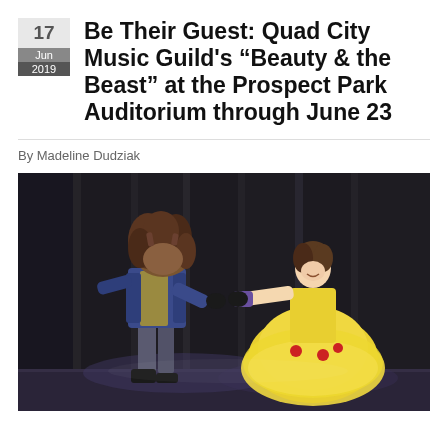Be Their Guest: Quad City Music Guild's “Beauty & the Beast” at the Prospect Park Auditorium through June 23
By Madeline Dudziak
[Figure (photo): Two performers on a dark stage — one dressed as the Beast in a blue coat with wild hair, and one as Belle in a large yellow ball gown — reaching toward each other in a dance scene.]